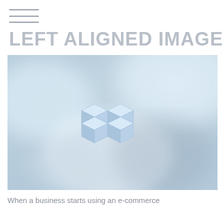≡
LEFT ALIGNED IMAGE
[Figure (illustration): A placeholder image with a soft blue-grey blurred background featuring four 3D cube icons arranged in a 2x2 grid pattern in the center, rendered in light blue tones]
When a business starts using an e-commerce